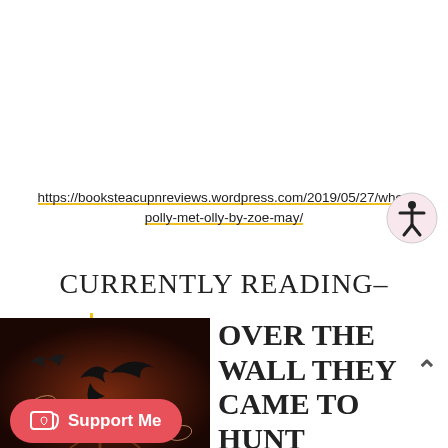https://booksteacupnreviews.wordpress.com/2019/05/27/when-polly-met-olly-by-zoe-may/
CURRENTLY READING–
[Figure (illustration): Book cover showing silhouetted birds over a dark brown background with leaf outlines]
OVER THE WALL THEY CAME TO HUNT
[Figure (logo): Ko-fi Support Me button with heart and coffee cup icon]